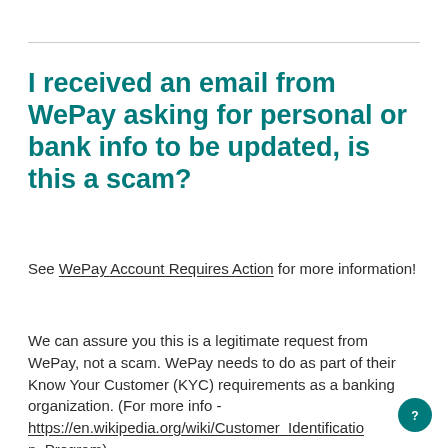I received an email from WePay asking for personal or bank info to be updated, is this a scam?
See WePay Account Requires Action for more information!
We can assure you this is a legitimate request from WePay, not a scam. WePay needs to do as part of their Know Your Customer (KYC) requirements as a banking organization. (For more info - https://en.wikipedia.org/wiki/Customer_Identification_Program).